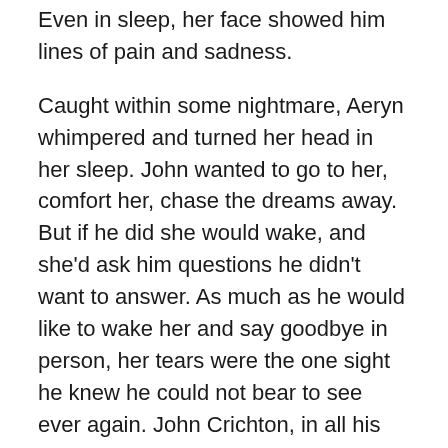Even in sleep, her face showed him lines of pain and sadness.
Caught within some nightmare, Aeryn whimpered and turned her head in her sleep. John wanted to go to her, comfort her, chase the dreams away. But if he did she would wake, and she'd ask him questions he didn't want to answer. As much as he would like to wake her and say goodbye in person, her tears were the one sight he knew he could not bear to see ever again. John Crichton, in all his incarnations, had caused this woman far too much pain and far too many tears already.
Reaching into a pocket, he pulled out a lock of ebony hair, tied together with a blue thread. It was one of the few prized possessions his twin had left behind when he and Aeryn absconded to Talyn all those months before. Perhaps he'd left it deliberately, as a kind of consolation prize for his twin, or perhaps, having the real Aeryn by his side with no one to answer to, he'd just left it behind...